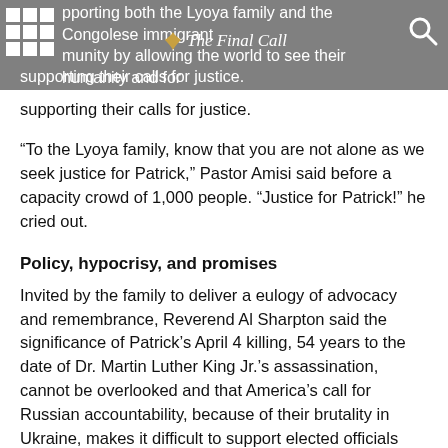supporting both the Lyoya family and the Congolese immigrant community by allowing the world to see their humanity and for supporting their calls for justice. | The Final Call
supporting their calls for justice.
“To the Lyoya family, know that you are not alone as we seek justice for Patrick,” Pastor Amisi said before a capacity crowd of 1,000 people. “Justice for Patrick!” he cried out.
Policy, hypocrisy, and promises
Invited by the family to deliver a eulogy of advocacy and remembrance, Reverend Al Sharpton said the significance of Patrick’s April 4 killing, 54 years to the date of Dr. Martin Luther King Jr.’s assassination, cannot be overlooked and that America’s call for Russian accountability, because of their brutality in Ukraine, makes it difficult to support elected officials who fail to demand likewise from police forces at home.
The civil rights leader spoke of the pain of Patrick’s killing and the